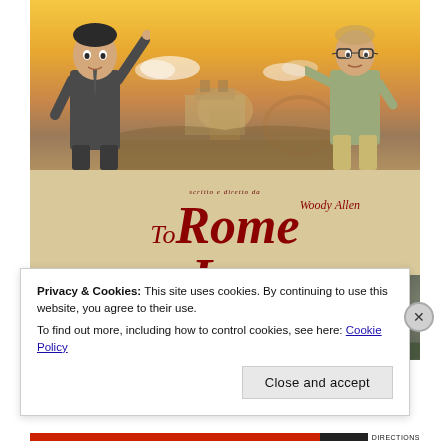[Figure (illustration): Movie poster for 'To Rome With Love' directed by Woody Allen. Top section shows two men against a golden Rome skyline. Middle section shows the movie title in dark red italic serif font on a beige background: 'scritto e diretto da / Woody Allen / To Rome With Love'. Bottom section shows three portrait panels of actors' faces.]
Privacy & Cookies: This site uses cookies. By continuing to use this website, you agree to their use.
To find out more, including how to control cookies, see here: Cookie Policy
Close and accept